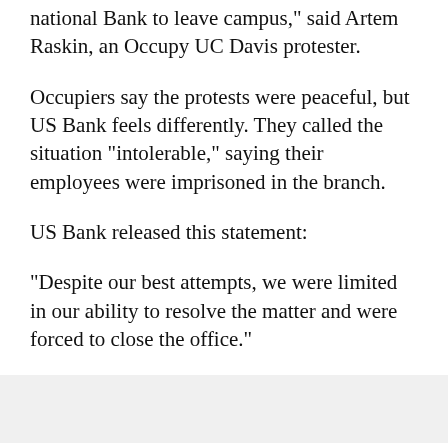national Bank to leave campus," said Artem Raskin, an Occupy UC Davis protester.
Occupiers say the protests were peaceful, but US Bank feels differently. They called the situation "intolerable," saying their employees were imprisoned in the branch.
US Bank released this statement:
"Despite our best attempts, we were limited in our ability to resolve the matter and were forced to close the office."
And it ends a 10-year deal between the bank and the university. US Bank's presence on campus generated